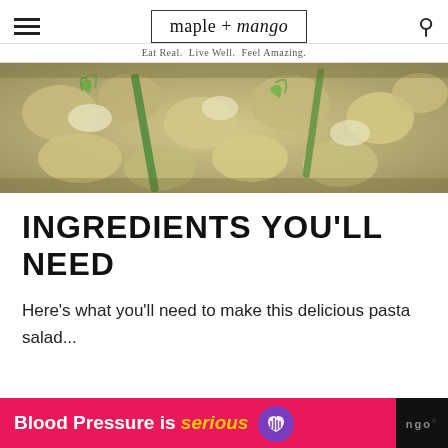maple + mango — Eat Real. Live Well. Feel Amazing.
[Figure (photo): Close-up photo of creamy pasta salad with asparagus and dill]
INGREDIENTS YOU'LL NEED
Here's what you'll need to make this delicious pasta salad...
[Figure (other): Advertisement banner: Blood Pressure is serious with heart icon]